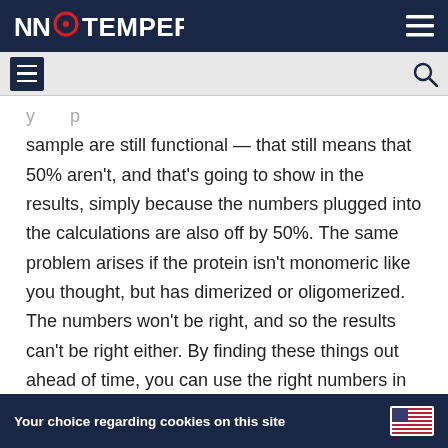NanoTemper
sample are still functional — that still means that 50% aren't, and that's going to show in the results, simply because the numbers plugged into the calculations are also off by 50%. The same problem arises if the protein isn't monomeric like you thought, but has dimerized or oligomerized. The numbers won't be right, and so the results can't be right either. By finding these things out ahead of time, you can use the right numbers in the calculations, and get the correct results.
Your choice regarding cookies on this site